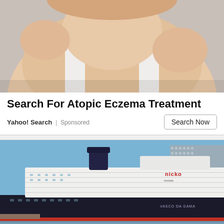[Figure (photo): Photo of a baby or young child scratching or touching their skin, wearing a white top, on a grey background — top portion cropped]
Search For Atopic Eczema Treatment
Yahoo! Search | Sponsored
Search Now
[Figure (photo): Photo of a large nicko cruise ship (Vasco da Gama) docked in a harbor with a city skyline in the background, blue sky]
Norwegian cruise canceled mid-trip, awaits